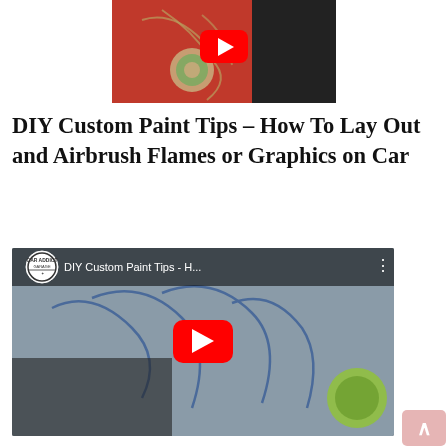[Figure (screenshot): YouTube video thumbnail showing a person applying green masking tape to a red car surface with flame/graphic outline lines visible]
DIY Custom Paint Tips – How To Lay Out and Airbrush Flames or Graphics on Car
[Figure (screenshot): YouTube embedded video player showing 'DIY Custom Paint Tips - H...' with Car Addict Garage logo, play button, and a person working on a grey car panel with blue flame outline graphics, holding green tape roll]